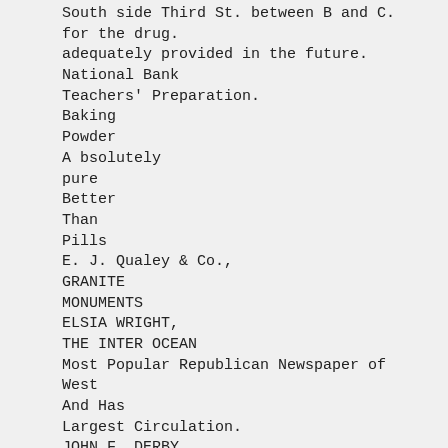South side Third St. between B and C.
for the drug.
adequately provided in the future.
National Bank
Teachers' Preparation.
Baking
Powder
A bsolutely
pure
Better
Than
Pills
E. J. Qualey & Co.,
GRANITE
MONUMENTS
ELSIA WRIGHT,
THE INTER OCEAN
Most Popular Republican Newspaper of
West
And Has
Largest Circulation.
JOHN F. DERBY,
TILE FACTORY,
The Weekly Inter Ocean i Cl.00